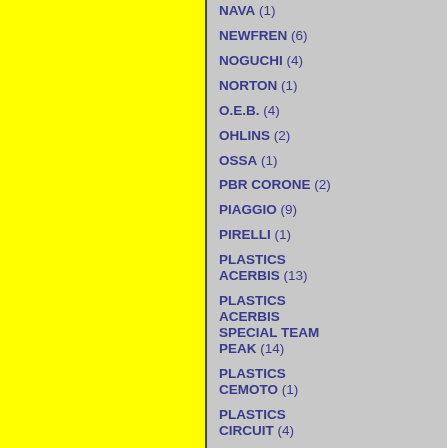[Figure (other): Yellow panel on left side of page]
NAVA (1)
NEWFREN (6)
NOGUCHI (4)
NORTON (1)
O.E.B. (4)
OHLINS (2)
OSSA (1)
PBR CORONE (2)
PIAGGIO (9)
PIRELLI (1)
PLASTICS ACERBIS (13)
PLASTICS ACERBIS SPECIAL TEAM PEAK (14)
PLASTICS CEMOTO (1)
PLASTICS CIRCUIT (4)
PLASTICS CYCRA (2)
PLASTICS FALK (8)
PLASTICS M